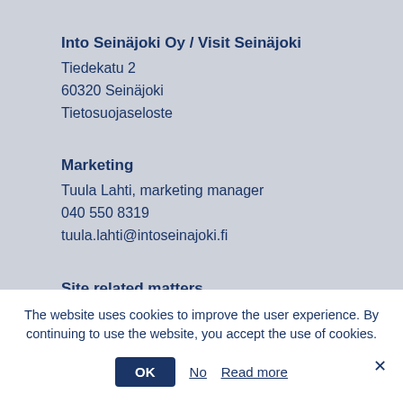Into Seinäjoki Oy / Visit Seinäjoki
Tiedekatu 2
60320 Seinäjoki
Tietosuojaseloste
Marketing
Tuula Lahti, marketing manager
040 550 8319
tuula.lahti@intoseinajoki.fi
Site related matters
Jesse Mäenpää, digital designer
040 774 8542
jesse.maenpaa@intoseinajoki.fi
The website uses cookies to improve the user experience. By continuing to use the website, you accept the use of cookies.
OK  No  Read more